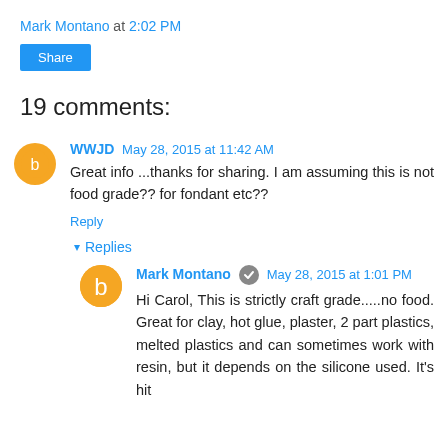Mark Montano at 2:02 PM
Share
19 comments:
WWJD  May 28, 2015 at 11:42 AM
Great info ...thanks for sharing. I am assuming this is not food grade?? for fondant etc??
Reply
▾ Replies
Mark Montano  May 28, 2015 at 1:01 PM
Hi Carol, This is strictly craft grade.....no food. Great for clay, hot glue, plaster, 2 part plastics, melted plastics and can sometimes work with resin, but it depends on the silicone used. It's hit